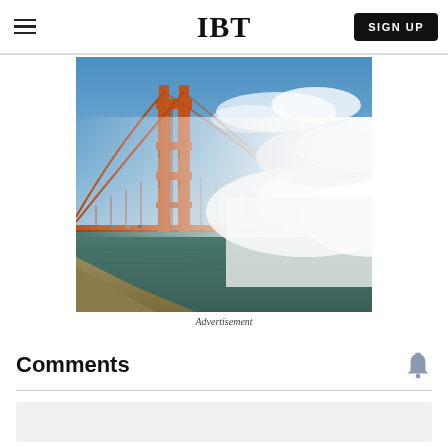IBT
[Figure (photo): Aerial photograph of the Golden Gate Bridge in San Francisco, partially shrouded in fog, with the iconic red-orange tower visible and the bridge spanning over teal bay waters]
Advertisement
Comments